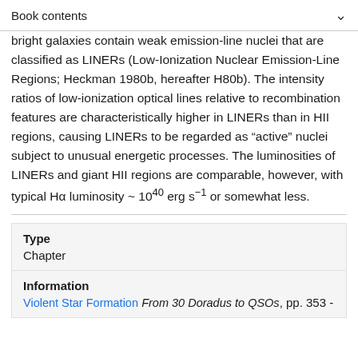Book contents
bright galaxies contain weak emission-line nuclei that are classified as LINERs (Low-Ionization Nuclear Emission-Line Regions; Heckman 1980b, hereafter H80b). The intensity ratios of low-ionization optical lines relative to recombination features are characteristically higher in LINERs than in HII regions, causing LINERs to be regarded as “active” nuclei subject to unusual energetic processes. The luminosities of LINERs and giant HII regions are comparable, however, with typical Hα luminosity ~ 10⁀ erg s⁻¹ or somewhat less.
| Type |  |
| --- | --- |
| Chapter |  |
| Information |  |
| Violent Star Formation From 30 Doradus to QSOs, pp. 353 - |  |